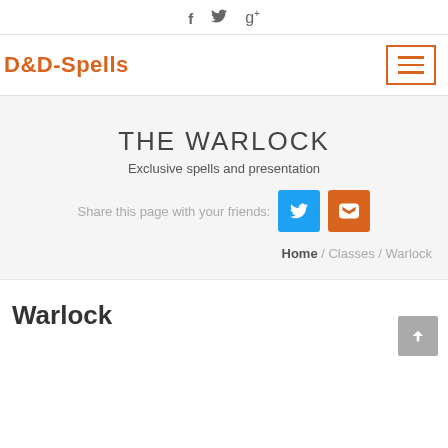f  (twitter icon)  g+
[Figure (other): Hamburger menu icon with orange border and three orange lines]
D&D-Spells
THE WARLOCK
Exclusive spells and presentation
Share this page with your friends:
Home / Classes / Warlock
Warlock